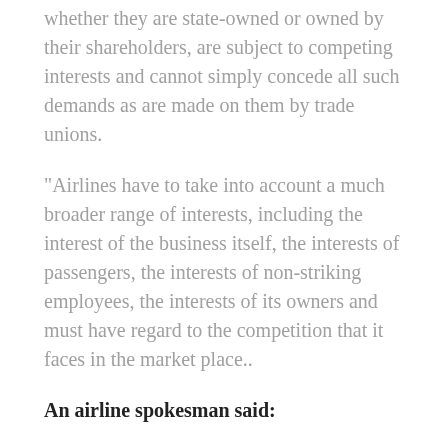whether they are state-owned or owned by their shareholders, are subject to competing interests and cannot simply concede all such demands as are made on them by trade unions.
“Airlines have to take into account a much broader range of interests, including the interest of the business itself, the interests of passengers, the interests of non-striking employees, the interests of its owners and must have regard to the competition that it faces in the market place..
An airline spokesman said:
Ryanair pays the vast majority of EU261 compensation claims it receives without dispute, but on occasion Ryanair must reject claims where we